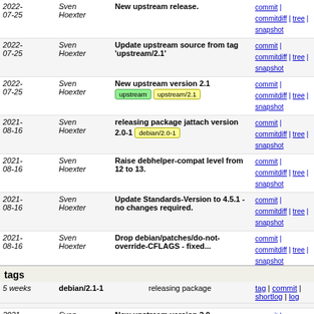| Date | Author | Message | Links |
| --- | --- | --- | --- |
| 2022-07-25 | Sven Hoexter | New upstream release. | commit | commitdiff | tree | snapshot |
| 2022-07-25 | Sven Hoexter | Update upstream source from tag 'upstream/2.1' | commit | commitdiff | tree | snapshot |
| 2022-07-25 | Sven Hoexter | New upstream version 2.1 [upstream] [upstream/2.1] | commit | commitdiff | tree | snapshot |
| 2021-08-16 | Sven Hoexter | releasing package jattach version 2.0-1 [debian/2.0-1] | commit | commitdiff | tree | snapshot |
| 2021-08-16 | Sven Hoexter | Raise debhelper-compat level from 12 to 13. | commit | commitdiff | tree | snapshot |
| 2021-08-16 | Sven Hoexter | Update Standards-Version to 4.5.1 - no changes required. | commit | commitdiff | tree | snapshot |
| 2021-08-16 | Sven Hoexter | Drop debian/patches/do-not-override-CFLAGS - fixed... | commit | commitdiff | tree | snapshot |
| 2021-08-16 | Sven Hoexter | New upstream release. | commit | commitdiff | tree | snapshot |
| 2021-08-16 | Sven Hoexter | New upstream version 2.0 [upstream/2.0] | commit | commitdiff | tree | snapshot |
| 2021-08-16 | Sven Hoexter | Update upstream source from tag 'upstream/2.0' | commit | commitdiff | tree | snapshot |
| 2020-02-28 | Sven Höxter | update manpage entry for dumpheap to add dumpfile | commit | commitdiff | tree | snapshot |
...
tags
| Age | Name | Message | Links |
| --- | --- | --- | --- |
| 5 weeks | debian/2.1-1 | releasing package | tag | commit | shortlog | log |